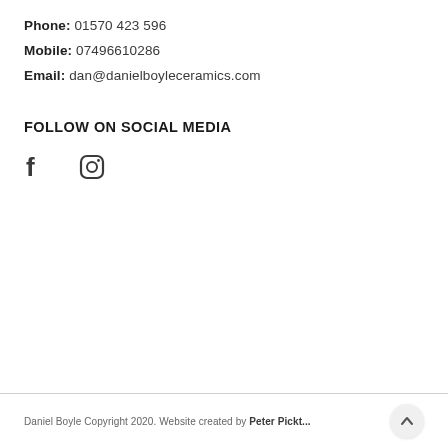Phone: 01570 423 596
Mobile: 07496610286
Email: dan@danielboyleceramics.com
FOLLOW ON SOCIAL MEDIA
[Figure (illustration): Facebook and Instagram social media icons]
Daniel Boyle Copyright 2020. Website created by Peter Pickt...